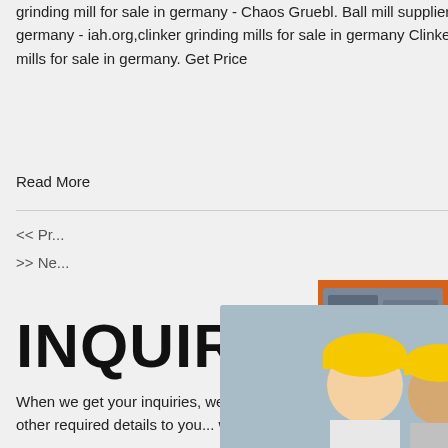grinding mill for sale in germany - Chaos Gruebl. Ball mill supplier in germany,grinding mill germany - iah.org,clinker grinding mills for sale in germany Clinker Grinding clinker grinding mills for sale in germany. Get Price
Read More
<< Pr...
>> Ne...
[Figure (screenshot): Live chat popup overlay showing workers in hard hats, 'LIVE CHAT' heading in red, 'Click for a Free Consultation' text, and Chat now / Chat later buttons.]
[Figure (infographic): Right sidebar advertisement with orange background showing mining/crushing machines, 'Enjoy 3% discount', 'Click to Chat', 'Enquiry', and email limingjlmofen@sina.com]
INQUIRY
When we get your inquiries, we will send tailored catalogue, pricelist, delivery, payment terms and other required details to you within 24 hours.